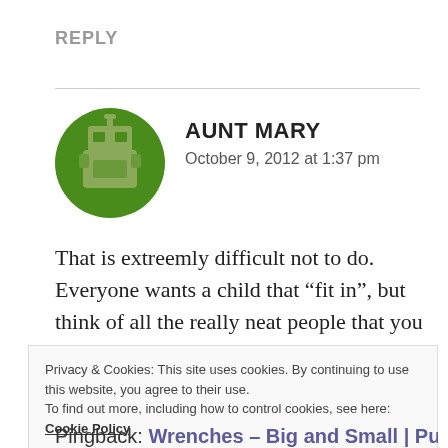REPLY
[Figure (illustration): Circular avatar with green background showing a pixelated robot/character icon in grey and green tones]
AUNT MARY
October 9, 2012 at 1:37 pm
That is extreemly difficult not to do. Everyone wants a child that “fit in”, but think of all the really neat people that you know that are from the same cookie cutter as the rest of us gingerbreadmen.
Privacy & Cookies: This site uses cookies. By continuing to use this website, you agree to their use.
To find out more, including how to control cookies, see here: Cookie Policy
Close and accept
Pingback: Wrenches – Big and Small | Pucks and